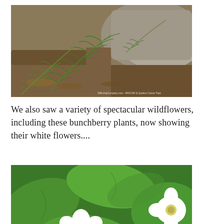[Figure (photo): Photo of ferns growing near a fallen log and rocks in a forest setting. Watermark text: EBirdingCompany.com - BWCAW & Quetico Canoe Trips]
We also saw a variety of spectacular wildflowers, including these bunchberry plants, now showing their white flowers....
[Figure (photo): Close-up photo of bunchberry plants with white four-petal flowers and broad green leaves]